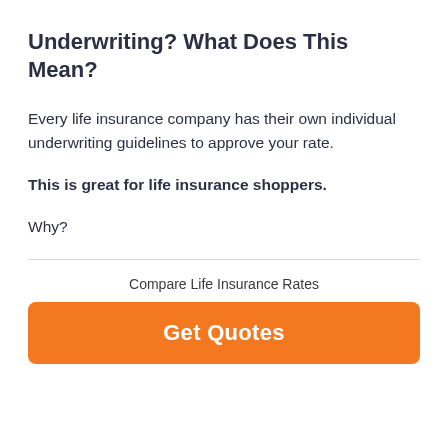Underwriting? What Does This Mean?
Every life insurance company has their own individual underwriting guidelines to approve your rate.
This is great for life insurance shoppers.
Why?
Compare Life Insurance Rates
Get Quotes